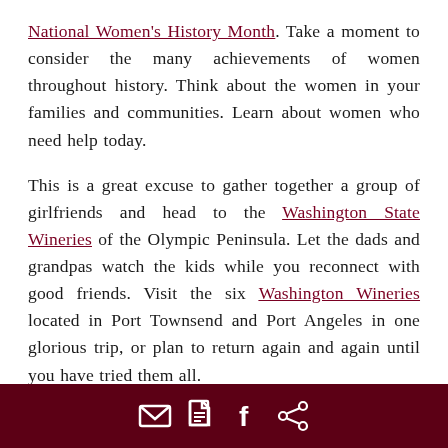National Women's History Month. Take a moment to consider the many achievements of women throughout history. Think about the women in your families and communities. Learn about women who need help today.

This is a great excuse to gather together a group of girlfriends and head to the Washington State Wineries of the Olympic Peninsula. Let the dads and grandpas watch the kids while you reconnect with good friends. Visit the six Washington Wineries located in Port Townsend and Port Angeles in one glorious trip, or plan to return again and again until you have tried them all.

There is at least one woman behind every winery on
[email icon] [document icon] [facebook icon] [share icon]